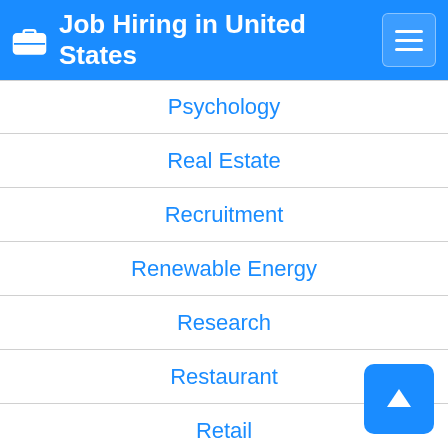Job Hiring in United States
Psychology
Real Estate
Recruitment
Renewable Energy
Research
Restaurant
Retail
Sales
Science